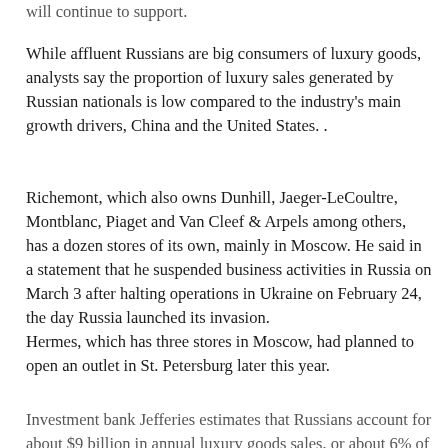will continue to support.
While affluent Russians are big consumers of luxury goods, analysts say the proportion of luxury sales generated by Russian nationals is low compared to the industry's main growth drivers, China and the United States. .
Richemont, which also owns Dunhill, Jaeger-LeCoultre, Montblanc, Piaget and Van Cleef & Arpels among others, has a dozen stores of its own, mainly in Moscow. He said in a statement that he suspended business activities in Russia on March 3 after halting operations in Ukraine on February 24, the day Russia launched its invasion.
Hermes, which has three stores in Moscow, had planned to open an outlet in St. Petersburg later this year.
Investment bank Jefferies estimates that Russians account for about $9 billion in annual luxury goods sales, or about 6% of